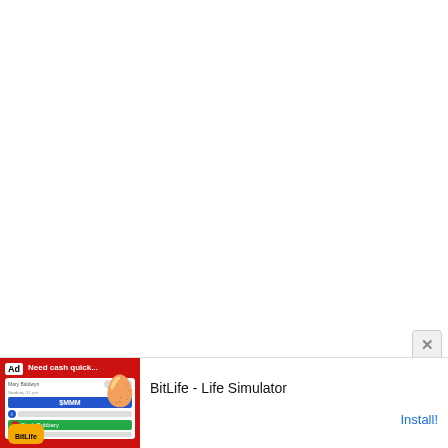[Figure (screenshot): Mostly blank white page area — a web browser screenshot with a mobile app advertisement banner at the bottom. The ad shows a BitLife - Life Simulator app advertisement with a red game UI image on the left and text 'BitLife - Life Simulator' and an 'Install!' button on the right. A close (X) button appears in the upper right above the ad.]